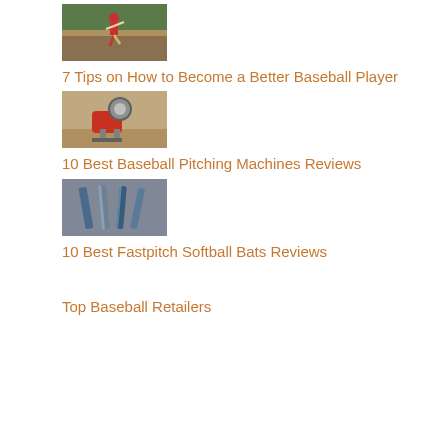[Figure (photo): Baseball pitcher in red uniform mid-throw on a field]
7 Tips on How to Become a Better Baseball Player
[Figure (photo): Red baseball pitching machine on dirt field]
10 Best Baseball Pitching Machines Reviews
[Figure (photo): Several softball/baseball bats arranged together]
10 Best Fastpitch Softball Bats Reviews
Top Baseball Retailers